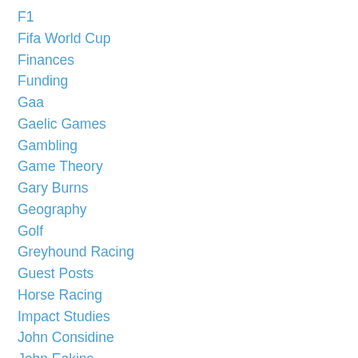F1
Fifa World Cup
Finances
Funding
Gaa
Gaelic Games
Gambling
Game Theory
Gary Burns
Geography
Golf
Greyhound Racing
Guest Posts
Horse Racing
Impact Studies
John Considine
John Eakins
League Of Ireland
Location
Media
Mls